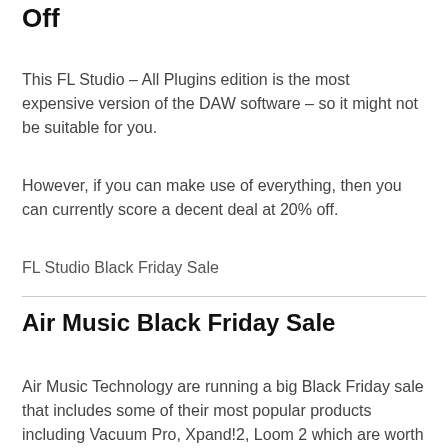FL Studio – All Plugins Edition 20% Off
This FL Studio – All Plugins edition is the most expensive version of the DAW software – so it might not be suitable for you.
However, if you can make use of everything, then you can currently score a decent deal at 20% off.
FL Studio Black Friday Sale
Air Music Black Friday Sale
Air Music Technology are running a big Black Friday sale that includes some of their most popular products including Vacuum Pro, Xpand!2, Loom 2 which are worth picking up.
Air Music Black Friday Sale